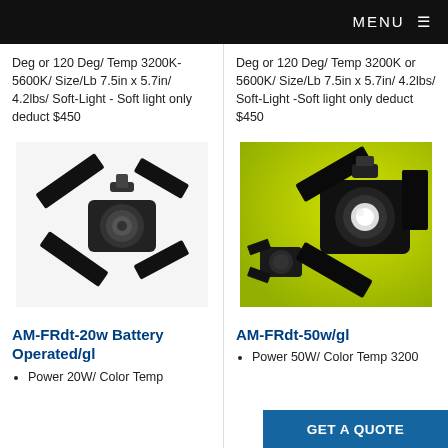MENU ☰
Deg or 120 Deg/ Temp 3200K-5600K/ Size/Lb 7.5in x 5.7in/ 4.2lbs/ Soft-Light - Soft light only deduct $450
Deg or 120 Deg/ Temp 3200K or 5600K/ Size/Lb 7.5in x 5.7in/ 4.2lbs/ Soft-Light -Soft light only deduct $450
[Figure (photo): Black studio Fresnel spotlight with barn doors, lens visible, on white background]
[Figure (photo): Two black studio Fresnel spotlights with barn doors on green background, one larger showing lit lens]
AM-FRdt-20w Battery Operated/gl
AM-FRdt-50w/gl
Power 20W/ Color Temp
Power 50W/ Color Temp 3200